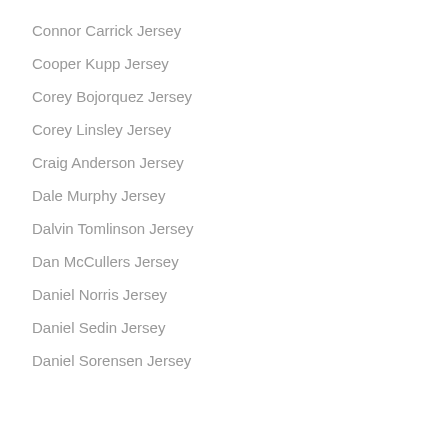Connor Carrick Jersey
Cooper Kupp Jersey
Corey Bojorquez Jersey
Corey Linsley Jersey
Craig Anderson Jersey
Dale Murphy Jersey
Dalvin Tomlinson Jersey
Dan McCullers Jersey
Daniel Norris Jersey
Daniel Sedin Jersey
Daniel Sorensen Jersey